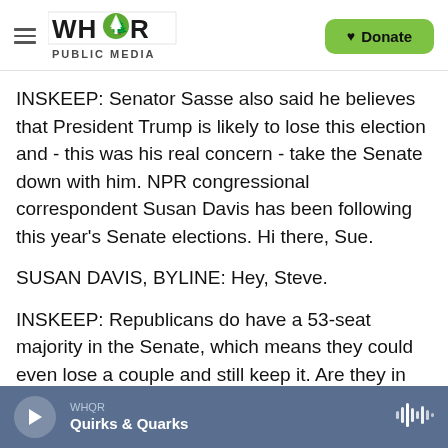WHQR PUBLIC MEDIA | Donate
INSKEEP: Senator Sasse also said he believes that President Trump is likely to lose this election and - this was his real concern - take the Senate down with him. NPR congressional correspondent Susan Davis has been following this year's Senate elections. Hi there, Sue.
SUSAN DAVIS, BYLINE: Hey, Steve.
INSKEEP: Republicans do have a 53-seat majority in the Senate, which means they could even lose a couple and still keep it. Are they in serious risk of losing that majority?
WHQR | Quirks & Quarks